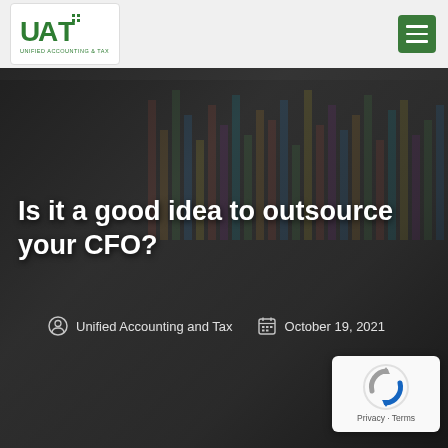[Figure (screenshot): UAT Unified Accounting and Tax website header with logo on left and hamburger menu on right, dark background hero image showing hands on calculator and bar charts]
Is it a good idea to outsource your CFO?
Unified Accounting and Tax   October 19, 2021